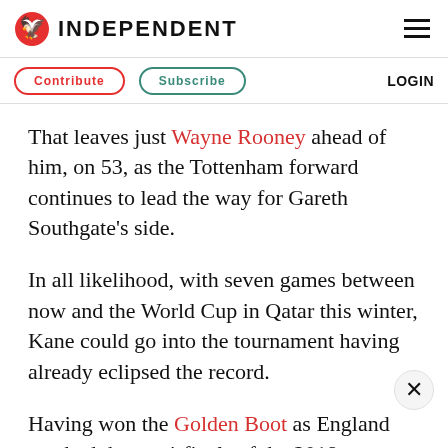INDEPENDENT
Contribute  Subscribe  LOGIN
That leaves just Wayne Rooney ahead of him, on 53, as the Tottenham forward continues to lead the way for Gareth Southgate's side.
In all likelihood, with seven games between now and the World Cup in Qatar this winter, Kane could go into the tournament having already eclipsed the record.
Having won the Golden Boot as England reached the semi-finals of the 2018